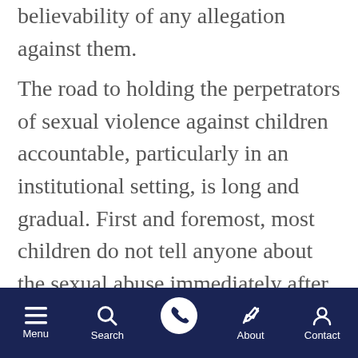believability of any allegation against them.
The road to holding the perpetrators of sexual violence against children accountable, particularly in an institutional setting, is long and gradual. First and foremost, most children do not tell anyone about the sexual abuse immediately after the act was committed. Like the elderly and individuals with disabilities, children may have a difficult time articulating what has happened to them to trusted family members and law
Menu  Search  About  Contact